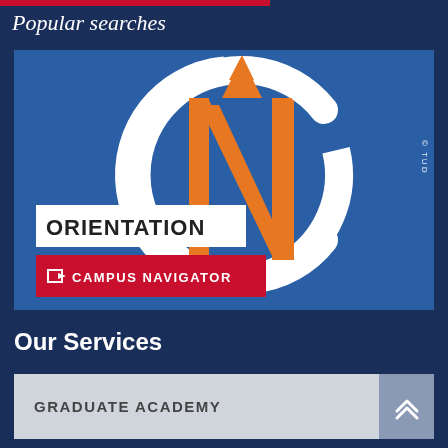Popular searches
[Figure (logo): Campus Navigator logo — blue background with white circular C and orange/yellow N letter design. Shows 'ORIENTATION' text in white box and 'CAMPUS NAVIGATOR' red button with arrow icon. Copyright TUD watermark in top right corner.]
Our Services
GRADUATE ACADEMY